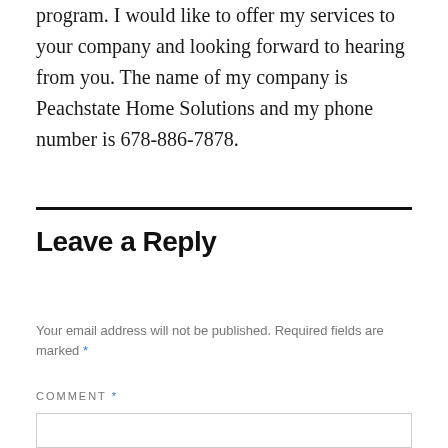program. I would like to offer my services to your company and looking forward to hearing from you. The name of my company is Peachstate Home Solutions and my phone number is 678-886-7878.
Leave a Reply
Your email address will not be published. Required fields are marked *
COMMENT *